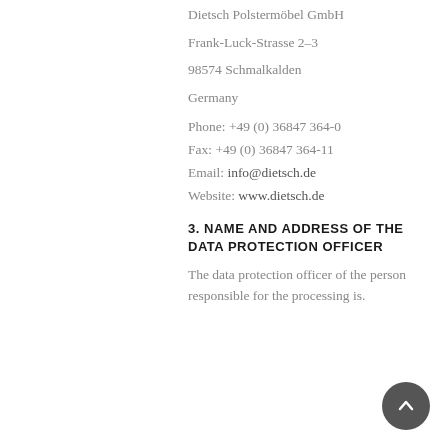data protection nature is:
Dietsch Polstermöbel GmbH
Frank-Luck-Strasse 2–3
98574 Schmalkalden
Germany
Phone: +49 (0) 36847 364-0
Fax: +49 (0) 36847 364-11
Email: info@dietsch.de
Website: www.dietsch.de
3. NAME AND ADDRESS OF THE DATA PROTECTION OFFICER
The data protection officer of the person responsible for the processing is.